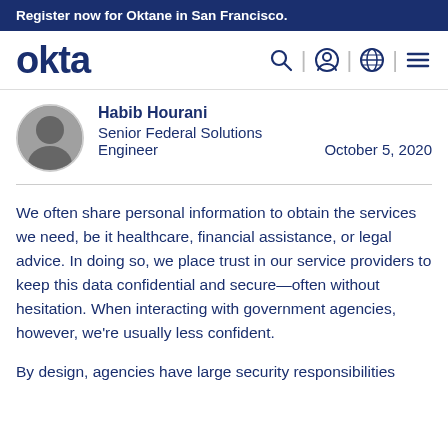Register now for Oktane in San Francisco.
[Figure (logo): Okta logo and navigation bar with search, user, globe, and menu icons]
Habib Hourani
Senior Federal Solutions Engineer
October 5, 2020
We often share personal information to obtain the services we need, be it healthcare, financial assistance, or legal advice. In doing so, we place trust in our service providers to keep this data confidential and secure—often without hesitation. When interacting with government agencies, however, we're usually less confident.
By design, agencies have large security responsibilities